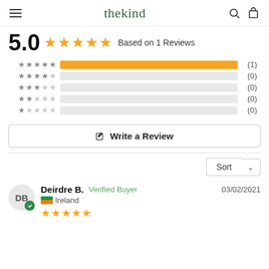thekind
5.0 ★★★★★ Based on 1 Reviews
[Figure (bar-chart): Rating distribution]
Write a Review
Sort
Deirdre B.  Verified Buyer  03/02/2021  Ireland